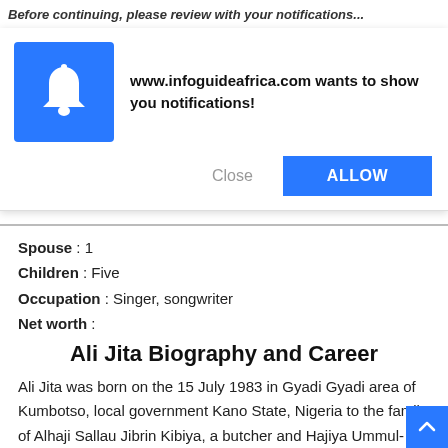Before continuing, please review with your notifications...
[Figure (screenshot): Browser notification popup with blue bell icon and buttons: Close and ALLOW. Text: www.infoguideafrica.com wants to show you notifications!]
Spouse : 1
Children : Five
Occupation : Singer, songwriter
Net worth :
Ali Jita Biography and Career
Ali Jita was born on the 15 July 1983 in Gyadi Gyadi area of Kumbotso, local government Kano State, Nigeria to the family of Alhaji Sallau Jibrin Kibiya, a butcher and Hajiya Ummul-Khairi. He was raised in the Shagari quarters of Gyadi Gyadi, where he had his nursery/elementary education in Shagari Quarters.